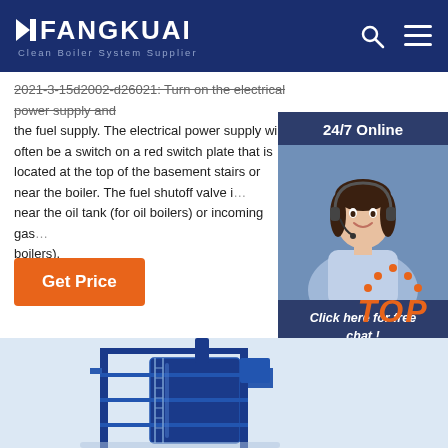FANGKUAI Clean Boiler System Supplier
2021-3-15d2002-d26021: Turn on the electrical power supply and the fuel supply. The electrical power supply will often be a switch on a red switch plate that is located at the top of the basement stairs or near the boiler. The fuel shutoff valve is near the oil tank (for oil boilers) or incoming gas boilers).
[Figure (photo): Customer service representative with headset, smiling, with '24/7 Online' header, 'Click here for free chat!' text, and 'QUOTATION' orange button]
Get Price
[Figure (illustration): TOP button with orange dots above and stylized italic text, plus partial view of industrial boiler equipment at the bottom of the page]